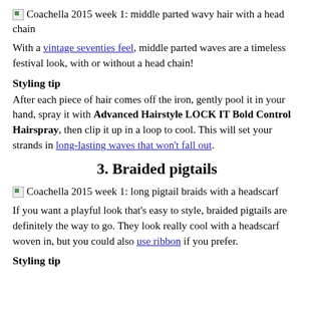[Figure (photo): Coachella 2015 week 1: middle parted wavy hair with a head chain]
With a vintage seventies feel, middle parted waves are a timeless festival look, with or without a head chain!
Styling tip
After each piece of hair comes off the iron, gently pool it in your hand, spray it with Advanced Hairstyle LOCK IT Bold Control Hairspray, then clip it up in a loop to cool. This will set your strands in long-lasting waves that won't fall out.
3. Braided pigtails
[Figure (photo): Coachella 2015 week 1: long pigtail braids with a headscarf]
If you want a playful look that's easy to style, braided pigtails are definitely the way to go. They look really cool with a headscarf woven in, but you could also use ribbon if you prefer.
Styling tip